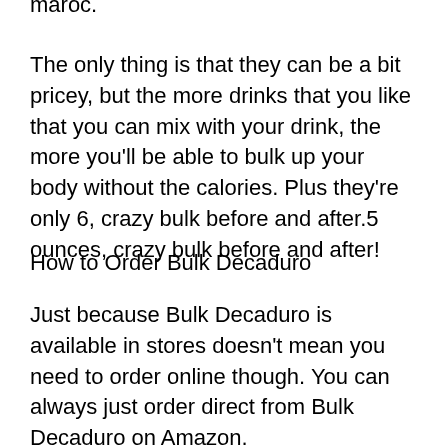maroc.
The only thing is that they can be a bit pricey, but the more drinks that you like that you can mix with your drink, the more you'll be able to bulk up your body without the calories. Plus they're only 6, crazy bulk before and after.5 ounces, crazy bulk before and after!
How to Order Bulk Decaduro
Just because Bulk Decaduro is available in stores doesn't mean you need to order online though. You can always just order direct from Bulk Decaduro on Amazon.
You must be 21 years or older to order. They have a one-day delivery option (for most countries) until 3pm local time. If you have a gift code then just let me know and I'll add it in without the one-day delivery, crazy bulk before and after.